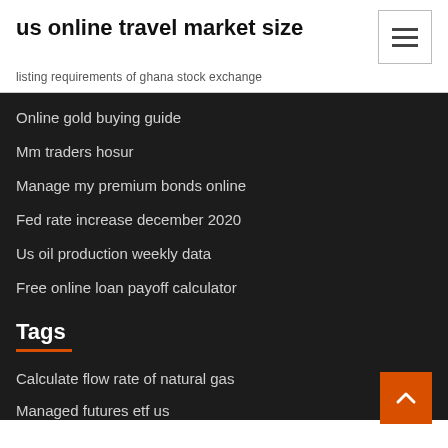us online travel market size
listing requirements of ghana stock exchange
Online gold buying guide
Mm traders hosur
Manage my premium bonds online
Fed rate increase december 2020
Us oil production weekly data
Free online loan payoff calculator
Tags
Calculate flow rate of natural gas
Managed futures etf us